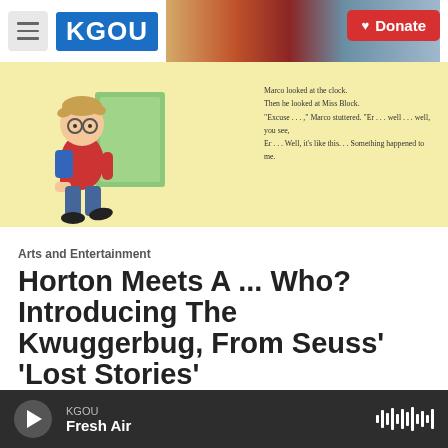KGOU — Donate
[Figure (illustration): Book illustration showing a cartoon boy carrying a large green book/door, walking. Yellow background. Right side shows text excerpt from book.]
Arts and Entertainment
Horton Meets A ... Who? Introducing The Kwuggerbug, From Seuss' 'Lost Stories'
Lauren Migaki, September 8, 2014
Seuss died in 1991, but a new collection of his lesser-known work comes out Tuesday. Horton and the
KGOU — Fresh Air